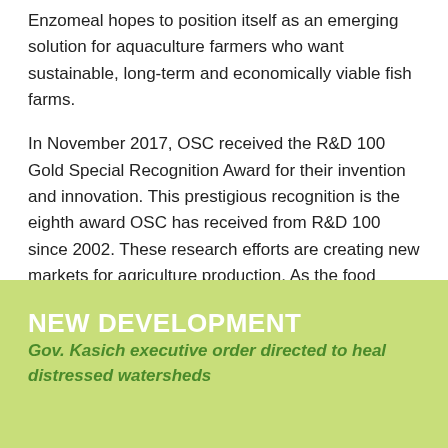Enzomeal hopes to position itself as an emerging solution for aquaculture farmers who want sustainable, long-term and economically viable fish farms.
In November 2017, OSC received the R&D 100 Gold Special Recognition Award for their invention and innovation. This prestigious recognition is the eighth award OSC has received from R&D 100 since 2002. These research efforts are creating new markets for agriculture production. As the food scene evolves, food production practices change. Let's keep swimming in new currents to provide for the world.
NEW DEVELOPMENT
Gov. Kasich executive order directed to heal distressed watersheds